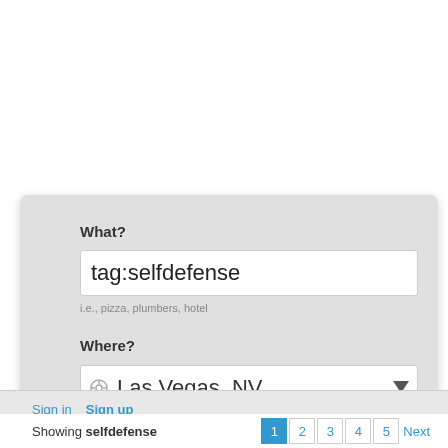[Figure (screenshot): A web search interface with What/Where fields and a Find button. The 'What' field contains 'tag:selfdefense', the 'Where' field shows 'Las Vegas, NV'. Below is a sign-in bar and a results navigation bar showing 'Showing selfdefense' with page numbers 1 2 3 4 5 Next.]